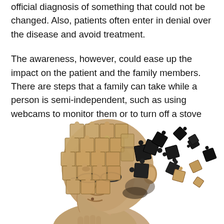official diagnosis of something that could not be changed. Also, patients often enter in denial over the disease and avoid treatment.
The awareness, however, could ease up the impact on the patient and the family members. There are steps that a family can take while a person is semi-independent, such as using webcams to monitor them or to turn off a stove automatically to avoid an emergency situation.
[Figure (illustration): Sepia-toned illustration of an elderly man in profile view, wearing glasses, with his head depicted as a jigsaw puzzle with pieces scattering and falling away from the right side of his head, symbolizing memory loss or dementia.]